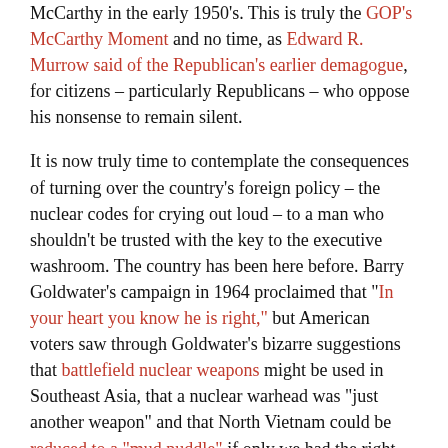McCarthy in the early 1950's. This is truly the GOP's McCarthy Moment and no time, as Edward R. Murrow said of the Republican's earlier demagogue, for citizens – particularly Republicans – who oppose his nonsense to remain silent.
It is now truly time to contemplate the consequences of turning over the country's foreign policy – the nuclear codes for crying out loud – to a man who shouldn't be trusted with the key to the executive washroom. The country has been here before. Barry Goldwater's campaign in 1964 proclaimed that "In your heart you know he is right," but American voters saw through Goldwater's bizarre suggestions that battlefield nuclear weapons might be used in Southeast Asia, that a nuclear warhead was "just another weapon" and that North Vietnam could be reduced to a "mud puddle" if only we had the right leadership.
The last time a radical hijacked the GOP, American voters